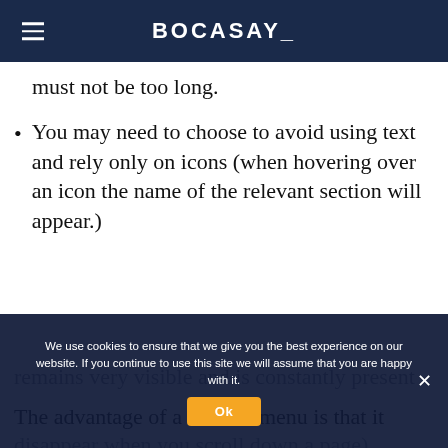BOCASAY_
must not be too long.
You may need to choose to avoid using text and rely only on icons (when hovering over an icon the name of the relevant section will appear.)
The advantage of a vertical menu is that it
remains very visible and is constantly present
disappear when you scroll down a page).
Another factor is that this type of layout is
We use cookies to ensure that we give you the best experience on our website. If you continue to use this site we will assume that you are happy with it.